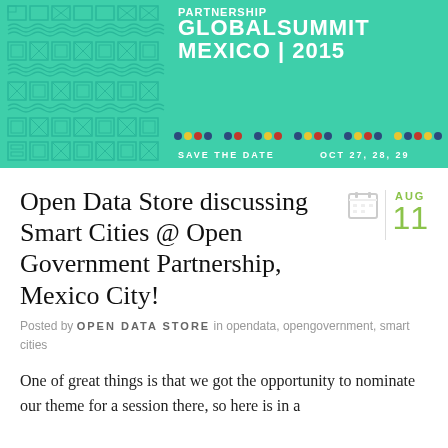[Figure (illustration): Open Government Partnership Global Summit Mexico 2015 banner with teal/green background, decorative geometric pattern on left, text reading GLOBALSUMMIT MEXICO | 2015, colored dots row, and SAVE THE DATE OCT 27, 28, 29 at bottom.]
Open Data Store discussing Smart Cities @ Open Government Partnership, Mexico City!
Posted by OPEN DATA STORE in opendata, opengovernment, smart cities
One of great things is that we got the opportunity to nominate our theme for a session there, so here is in a